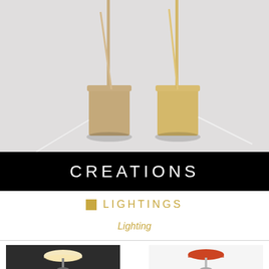[Figure (photo): Two gold/brass cylindrical lamp bases with thin rods extending upward, photographed against a light grey background]
CREATIONS
LIGHTINGS
Lighting
[Figure (photo): A mushroom-shaped table lamp with cream/white dome shade on a dark background, illuminated]
[Figure (photo): A mushroom-shaped table lamp with red/orange dome shade on a white background]